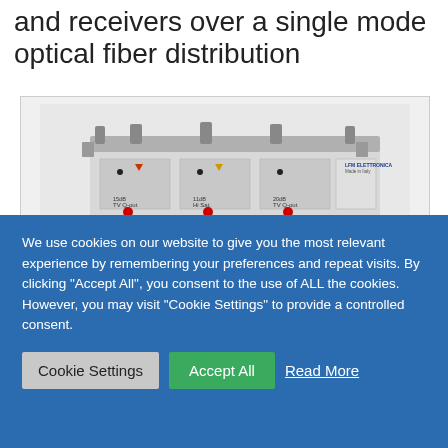and receivers over a single mode optical fiber distribution
[Figure (photo): Photo of TXWBT Optical Satellite & TV Transmitter device by LFM Elettronica, Made in Italy. A white rectangular electronic device with multiple connectors on top and LED indicators on the front panel.]
We use cookies on our website to give you the most relevant experience by remembering your preferences and repeat visits. By clicking "Accept All", you consent to the use of ALL the cookies. However, you may visit "Cookie Settings" to provide a controlled consent.